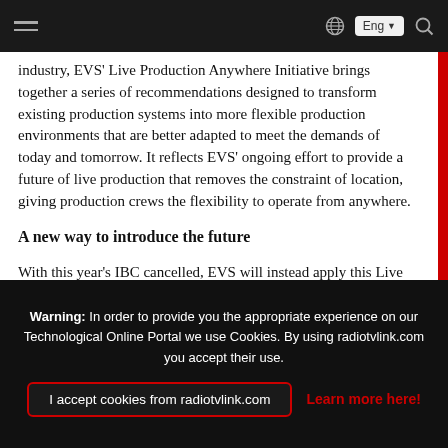Navigation bar with hamburger menu, globe icon, Eng language selector, and search icon
industry, EVS' Live Production Anywhere Initiative brings together a series of recommendations designed to transform existing production systems into more flexible production environments that are better adapted to meet the demands of today and tomorrow. It reflects EVS' ongoing effort to provide a future of live production that removes the constraint of location, giving production crews the flexibility to operate from anywhere.
A new way to introduce the future
With this year's IBC cancelled, EVS will instead apply this Live Production Anywhere vision itself by bringing demonstrations of its latest products and solutions to customers no matter their location.
Warning: In order to provide you the appropriate experience on our Technological Online Portal we use Cookies. By using radiotvlink.com you accept their use. | I accept cookies from radiotvlink.com | Learn more here!